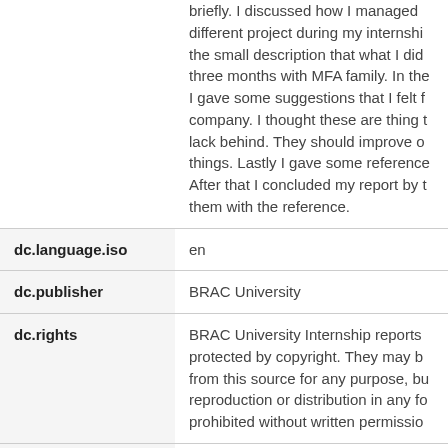briefly. I discussed how I managed different project during my internship, the small description that what I did three months with MFA family. In the I gave some suggestions that I felt f company. I thought these are thing t lack behind. They should improve o things. Lastly I gave some reference. After that I concluded my report by t them with the reference.
| Field | Value |
| --- | --- |
| dc.language.iso | en |
| dc.publisher | BRAC University |
| dc.rights | BRAC University Internship reports protected by copyright. They may b from this source for any purpose, bu reproduction or distribution in any fo prohibited without written permissio |
| dc.subject | Pizza Inn Bangladesh |
| dc.subject | General report |